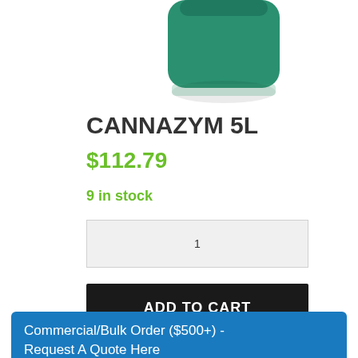[Figure (photo): Green bottle of Cannazym 5L product, partially cropped at top]
CANNAZYM 5L
$112.79
9 in stock
1
ADD TO CART
Commercial/Bulk Order ($500+) - Request A Quote Here